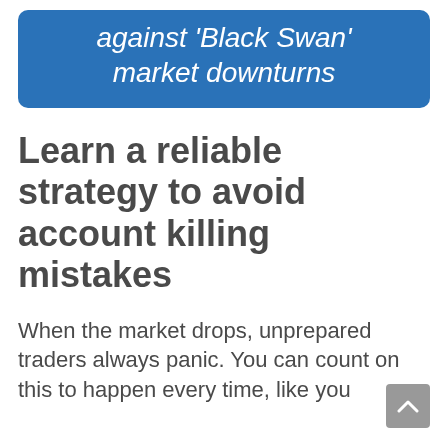against 'Black Swan' market downturns
Learn a reliable strategy to avoid account killing mistakes
When the market drops, unprepared traders always panic. You can count on this to happen every time, like you